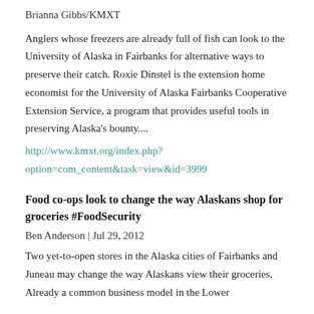Brianna Gibbs/KMXT
Anglers whose freezers are already full of fish can look to the University of Alaska in Fairbanks for alternative ways to preserve their catch. Roxie Dinstel is the extension home economist for the University of Alaska Fairbanks Cooperative Extension Service, a program that provides useful tools in preserving Alaska's bounty....
http://www.kmxt.org/index.php?option=com_content&task=view&id=3999
Food co-ops look to change the way Alaskans shop for groceries #FoodSecurity
Ben Anderson | Jul 29, 2012
Two yet-to-open stores in the Alaska cities of Fairbanks and Juneau may change the way Alaskans view their groceries. Already a common business model in the Lower